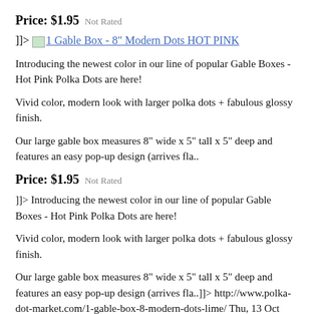Price: $1.95   Not Rated
]]> [img] 1 Gable Box - 8" Modern Dots HOT PINK
Introducing the newest color in our line of popular Gable Boxes - Hot Pink Polka Dots are here!
Vivid color, modern look with larger polka dots + fabulous glossy finish.
Our large gable box measures 8" wide x 5" tall x 5" deep and features an easy pop-up design (arrives fla..
Price: $1.95   Not Rated
]]> Introducing the newest color in our line of popular Gable Boxes - Hot Pink Polka Dots are here!
Vivid color, modern look with larger polka dots + fabulous glossy finish.
Our large gable box measures 8" wide x 5" tall x 5" deep and features an easy pop-up design (arrives fla..]]> http://www.polka-dot-market.com/1-gable-box-8-modern-dots-lime/ Thu, 13 Oct 2011 14:48:23 +0000 http://www.polka-dot-market.com/1-gable-